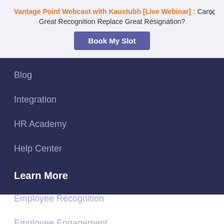Vantage Point Webcast with Kaustubh [Live Webinar] : Can Great Recognition Replace Great Resignation?
Book My Slot
Blog
Integration
HR Academy
Help Center
Learn More
Employee Recognition
Employee Engagement
Rewards & Recognition
Employee Experience